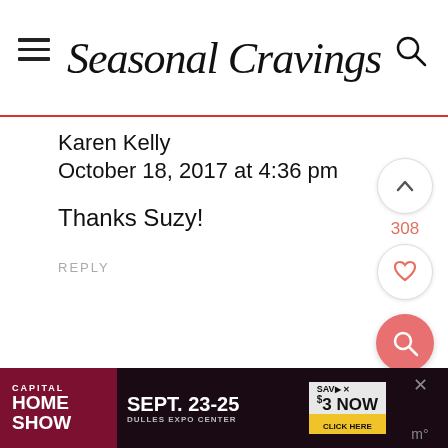Seasonal Cravings
Karen Kelly
October 18, 2017 at 4:36 pm

Thanks Suzy!

REPLY
[Figure (other): Advertisement banner: Capital Home Show, Sept. 23-25, Dulles Expo Center, Save $3 Now, Click Here]